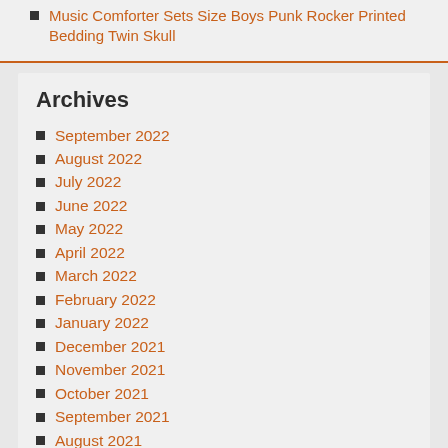Music Comforter Sets Size Boys Punk Rocker Printed Bedding Twin Skull
Archives
September 2022
August 2022
July 2022
June 2022
May 2022
April 2022
March 2022
February 2022
January 2022
December 2021
November 2021
October 2021
September 2021
August 2021
July 2021
June 2021
May 2021